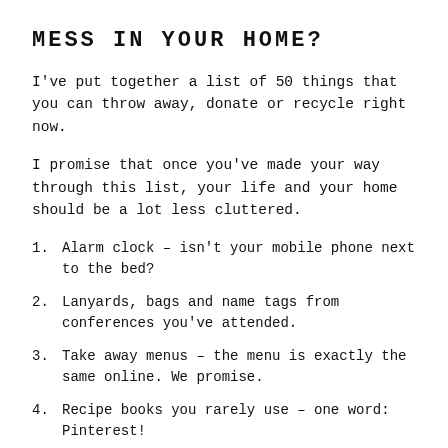MESS IN YOUR HOME?
I've put together a list of 50 things that you can throw away, donate or recycle right now.
I promise that once you've made your way through this list, your life and your home should be a lot less cluttered.
1. Alarm clock – isn't your mobile phone next to the bed?
2. Lanyards, bags and name tags from conferences you've attended.
3. Take away menus – the menu is exactly the same online. We promise.
4. Recipe books you rarely use – one word: Pinterest!
5. CDs that came with computer programs you're no